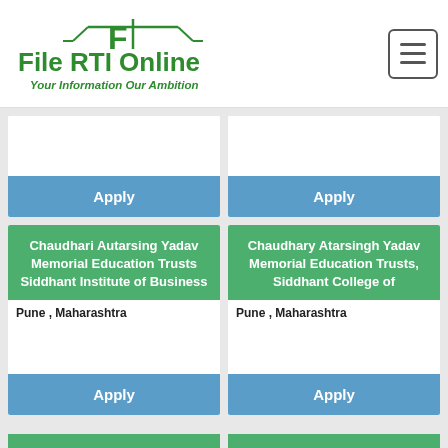[Figure (logo): File RTI Online logo with scales of justice icon and tagline 'Your Information Our Ambition']
Apply
Apply
Chaudhari Autarsing Yadav Memorial Education Trusts Siddhant Institute of Business
Pune , Maharashtra
Chaudhary Atarsingh Yadav Memorial Education Trusts, Siddhant College of
Pune , Maharashtra
Apply
Apply